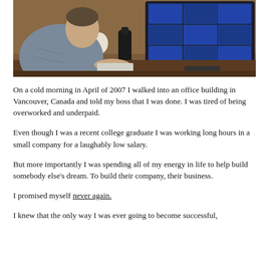[Figure (photo): A man seen from behind/side sitting at a desk working at a computer monitor displaying multiple windows, with a dark bottle on the desk and a white object in the background.]
On a cold morning in April of 2007 I walked into an office building in Vancouver, Canada and told my boss that I was done. I was tired of being overworked and underpaid.
Even though I was a recent college graduate I was working long hours in a small company for a laughably low salary.
But more importantly I was spending all of my energy in life to help build somebody else's dream. To build their company, their business.
I promised myself never again.
I knew that the only way I was ever going to become successful,